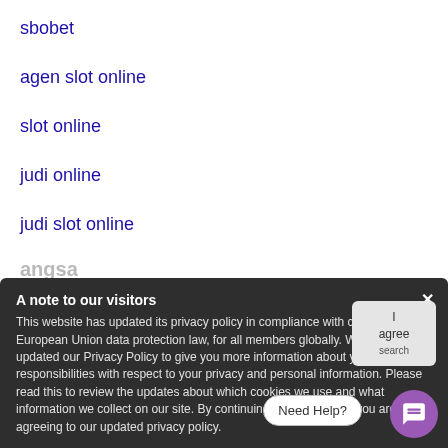sbobet
agen slot online
slot online
judi online
judi slot online
A note to our visitors
This website has updated its privacy policy in compliance with changes to European Union data protection law, for all members globally. We've also updated our Privacy Policy to give you more information about your rights and responsibilities with respect to your privacy and personal information. Please read this to review the updates about which cookies we use and what information we collect on our site. By continuing to use this site, you are agreeing to our updated privacy policy.